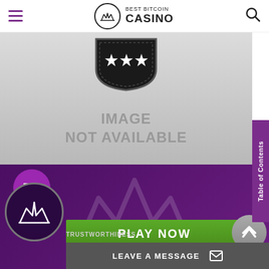Best Bitcoin Casino
[Figure (screenshot): Image not available placeholder with dark badge/shield icon with stars at top, on grey gradient background]
5.4
PLAY NOW
LEAVE A MESSAGE
TRUSTWORTHINESS
Table of Contents